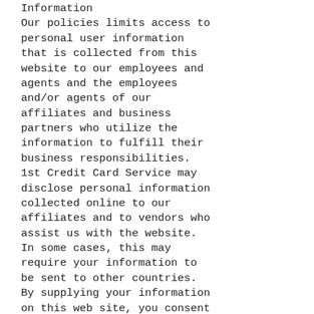Information
Our policies limits access to personal user information that is collected from this website to our employees and agents and the employees and/or agents of our affiliates and business partners who utilize the information to fulfill their business responsibilities. 1st Credit Card Service may disclose personal information collected online to our affiliates and to vendors who assist us with the website. In some cases, this may require your information to be sent to other countries. By supplying your information on this web site, you consent to your information being transferred across international borders to 1st Credit Card Service and its affiliates, vendors, or